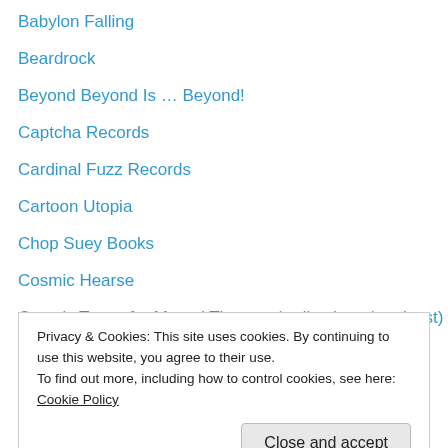Babylon Falling
Beardrock
Beyond Beyond Is … Beyond!
Captcha Records
Cardinal Fuzz Records
Cartoon Utopia
Chop Suey Books
Cosmic Hearse
Cosmic Tones for Mental Therapy (radio show / podcast)
Crusher Records
Custom Made Music
Dark Languages
Dead TV
Privacy & Cookies: This site uses cookies. By continuing to use this website, you agree to their use.
To find out more, including how to control cookies, see here: Cookie Policy
Expanding Mind podcast